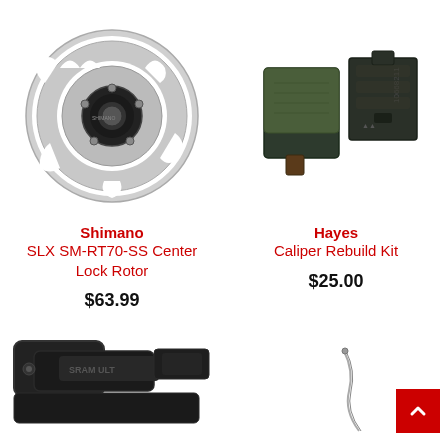[Figure (photo): Shimano SLX SM-RT70-SS Center Lock Rotor — silver disc brake rotor with cutouts and black center lock hub]
Shimano
SLX SM-RT70-SS Center Lock Rotor
$63.99
[Figure (photo): Hayes Caliper Rebuild Kit — two dark green/grey brake pads shown side by side]
Hayes
Caliper Rebuild Kit
$25.00
[Figure (photo): Partial view of a black bicycle component (appears to be a derailleur or clamp), partially cropped at bottom of page]
[Figure (photo): Partial view of a thin metal cable or wire, partially cropped at bottom right of page]